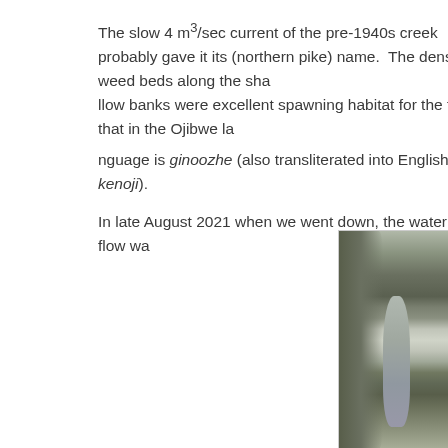The slow 4 m³/sec current of the pre-1940s creek probably gave it its (northern pike) name.  The dense weed beds along the shallow banks were excellent spawning habitat for the fish that in the Ojibwe language is ginoozhe (also transliterated into English as kenoji).
In late August 2021 when we went down, the water flow wa...
[Figure (photo): Black and white aerial or elevated photograph of a narrow winding creek or stream flanked by dense vegetation and marsh grasses on both sides, with water visible in the center reflecting the sky.]